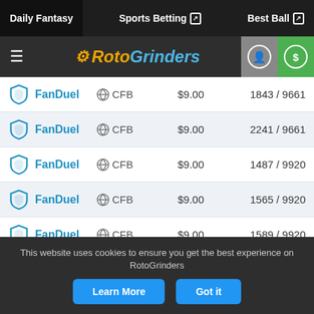Daily Fantasy | Sports Betting | Best Ball
[Figure (logo): RotoGrinders logo with hamburger menu, user icon, and deposit icon]
| Platform | Sport | Entry Fee | Entries |
| --- | --- | --- | --- |
| FanDuel | CFB | $9.00 | 1843 / 9661 |
| FanDuel | CFB | $9.00 | 2241 / 9661 |
| FanDuel | CFB | $9.00 | 1487 / 9920 |
| FanDuel | CFB | $9.00 | 1565 / 9920 |
| FanDuel | CFB | $9.00 | 1589 / 9920 |
| FanDuel | CFB | $9.00 | 1961 / 9920 |
| FanDuel | CFB | $9.00 | 2180 / 9920 |
| FanDuel | CFB | $9.00 | 776 / 9920 |
This website uses cookies to ensure you get the best experience on RotoGrinders
Learn More | Got it